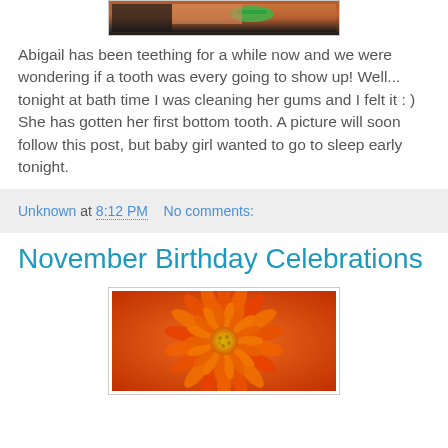[Figure (photo): Partial photo of a baby/child at the top of the page, cropped]
Abigail has been teething for a while now and we were wondering if a tooth was every going to show up! Well... tonight at bath time I was cleaning her gums and I felt it : ) She has gotten her first bottom tooth. A picture will soon follow this post, but baby girl wanted to go to sleep early tonight.
Unknown at 8:12 PM    No comments:
November Birthday Celebrations
[Figure (photo): Close-up photo of an orange chrysanthemum flower]